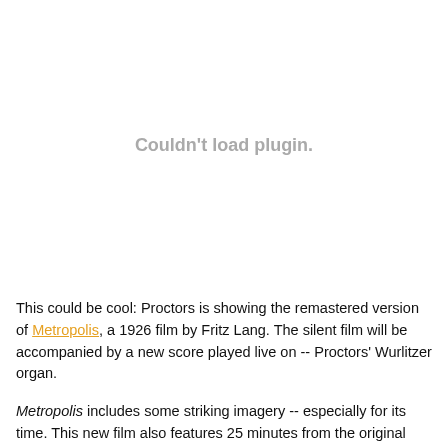[Figure (other): Plugin placeholder area showing 'Couldn't load plugin.' message in gray text on white background]
This could be cool: Proctors is showing the remastered version of Metropolis, a 1926 film by Fritz Lang. The silent film will be accompanied by a new score played live on -- Proctors' Wurlitzer organ.
Metropolis includes some striking imagery -- especially for its time. This new film also features 25 minutes from the original that were thought to be lost...